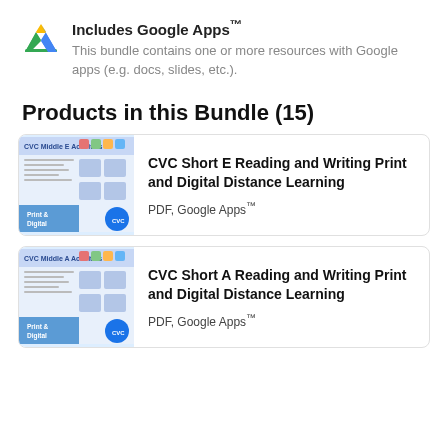[Figure (logo): Google Drive triangle logo in red, yellow, green colors]
Includes Google Apps™
This bundle contains one or more resources with Google apps (e.g. docs, slides, etc.).
Products in this Bundle (15)
[Figure (illustration): Thumbnail image of CVC Middle E Activities worksheet with print and digital label]
CVC Short E Reading and Writing Print and Digital Distance Learning
PDF, Google Apps™
[Figure (illustration): Thumbnail image of CVC Middle A Activities worksheet with print and digital label]
CVC Short A Reading and Writing Print and Digital Distance Learning
PDF, Google Apps™